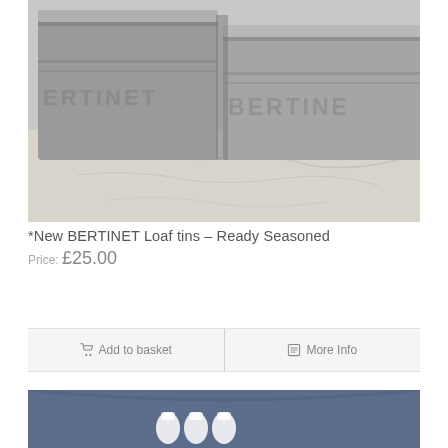[Figure (photo): Close-up photograph of grey metal BERTINET branded loaf tins on a marble surface]
*New BERTINET Loaf tins – Ready Seasoned
Price: £25.00
Add to basket | More Info
[Figure (photo): Partial view of a navy blue sweatshirt with a bread/hand print design]